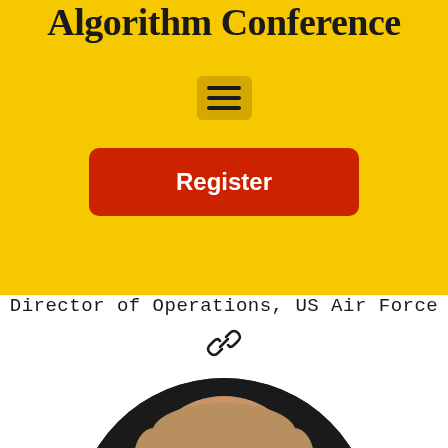Algorithm Conference
[Figure (other): Hamburger menu icon in a darker yellow rounded box]
[Figure (other): Red register button with white bold text reading Register]
Director of Operations, US Air Force
[Figure (other): Chain link icon]
[Figure (photo): Circular cropped portrait photo of a middle-aged man with grey-blond hair and glasses, looking downward, against a dark background]